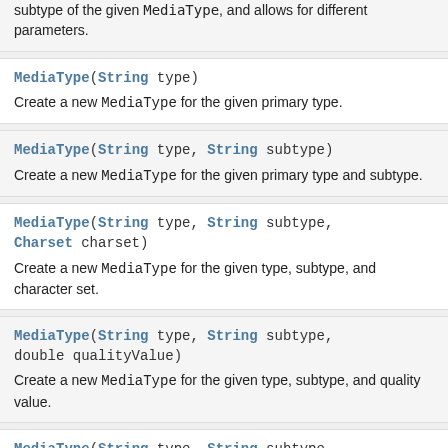subtype of the given MediaType, and allows for different parameters.
MediaType(String type)
Create a new MediaType for the given primary type.
MediaType(String type, String subtype)
Create a new MediaType for the given primary type and subtype.
MediaType(String type, String subtype, Charset charset)
Create a new MediaType for the given type, subtype, and character set.
MediaType(String type, String subtype, double qualityValue)
Create a new MediaType for the given type, subtype, and quality value.
MediaType(String type, String subtype, Map<String,String> parameters)
Create a new MediaType for the given type,